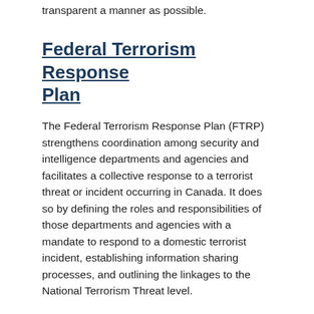transparent a manner as possible.
Federal Terrorism Response Plan
The Federal Terrorism Response Plan (FTRP) strengthens coordination among security and intelligence departments and agencies and facilitates a collective response to a terrorist threat or incident occurring in Canada. It does so by defining the roles and responsibilities of those departments and agencies with a mandate to respond to a domestic terrorist incident, establishing information sharing processes, and outlining the linkages to the National Terrorism Threat level.
Mitigating the Threat Posed By Canadian Extremist Travellers